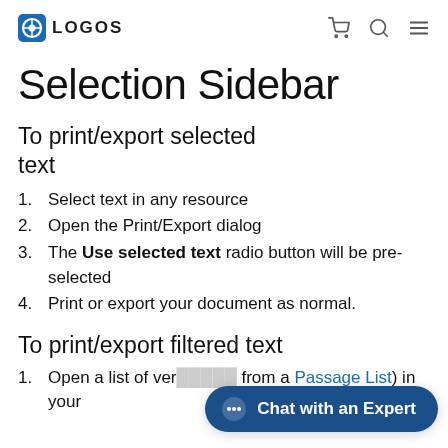LOGOS
Selection Sidebar
To print/export selected text
Select text in any resource
Open the Print/Export dialog
The Use selected text radio button will be pre-selected
Print or export your document as normal.
To print/export filtered text
Open a list of ver… from a Passage List) in your